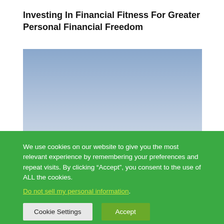Investing In Financial Fitness For Greater Personal Financial Freedom
[Figure (photo): Sky photograph with blue and light gray gradient sky, no other visible subjects]
We use cookies on our website to give you the most relevant experience by remembering your preferences and repeat visits. By clicking “Accept”, you consent to the use of ALL the cookies.
Do not sell my personal information.